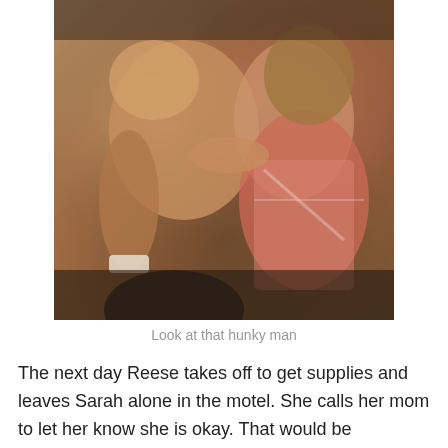[Figure (photo): A shirtless muscular man with bandaged wrist being touched on the chest by a woman with layered hair wearing a pink and white patterned top, appearing to be a scene from the movie The Terminator.]
Look at that hunky man
The next day Reese takes off to get supplies and leaves Sarah alone in the motel. She calls her mom to let her know she is okay. That would be great...except that her mom is already dead and the woman she is talking to is actually the Terminator mimicking the voice. Then Sarah